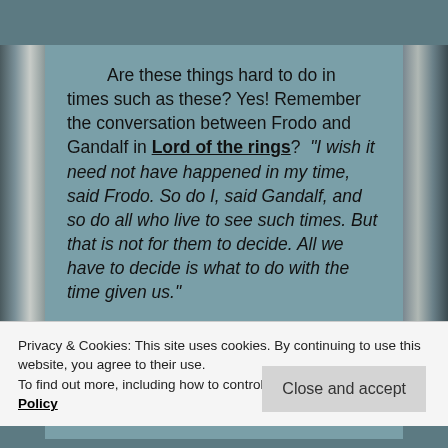Are these things hard to do in times such as these? Yes! Remember the conversation between Frodo and Gandalf in Lord of the rings? "I wish it need not have happened in my time, said Frodo. So do I, said Gandalf, and so do all who live to see such times. But that is not for them to decide. All we have to decide is what to do with the time given us."
We all live within the strictures of our times. May
Privacy & Cookies: This site uses cookies. By continuing to use this website, you agree to their use.
To find out more, including how to control cookies, see here: Cookie Policy